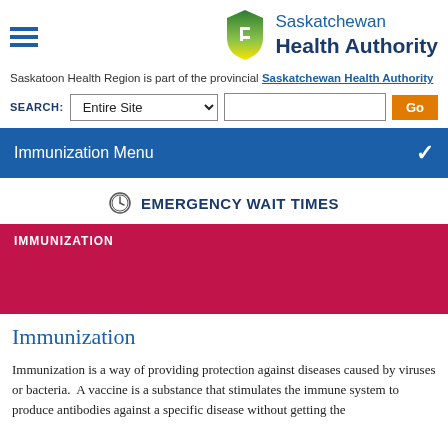[Figure (logo): Saskatchewan Health Authority logo with green/yellow shield icon and blue text]
Saskatoon Health Region is part of the provincial Saskatchewan Health Authority
SEARCH: Entire Site [dropdown] [search box] Go
Immunization Menu
EMERGENCY WAIT TIMES
IMMUNIZATION
Immunization
Immunization is a way of providing protection against diseases caused by viruses or bacteria.  A vaccine is a substance that stimulates the immune system to produce antibodies against a specific disease without getting the